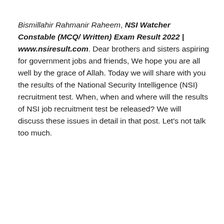Bismillahir Rahmanir Raheem, NSI Watcher Constable (MCQ/ Written) Exam Result 2022 | www.nsiresult.com. Dear brothers and sisters aspiring for government jobs and friends, We hope you are all well by the grace of Allah. Today we will share with you the results of the National Security Intelligence (NSI) recruitment test. When, when and where will the results of NSI job recruitment test be released? We will discuss these issues in detail in that post. Let's not talk too much.